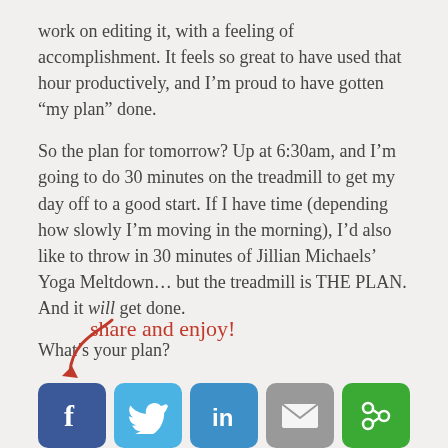work on editing it, with a feeling of accomplishment. It feels so great to have used that hour productively, and I’m proud to have gotten “my plan” done.
So the plan for tomorrow? Up at 6:30am, and I’m going to do 30 minutes on the treadmill to get my day off to a good start. If I have time (depending how slowly I’m moving in the morning), I’d also like to throw in 30 minutes of Jillian Michaels’ Yoga Meltdown… but the treadmill is THE PLAN. And it will get done.
What’s your plan?
[Figure (infographic): Share and enjoy label in red handwritten/cursive font with a red curved arrow pointing down-left to social media icons: Facebook (blue), Twitter (light blue), LinkedIn (blue), Email (gray), and a green share/SumoMe icon.]